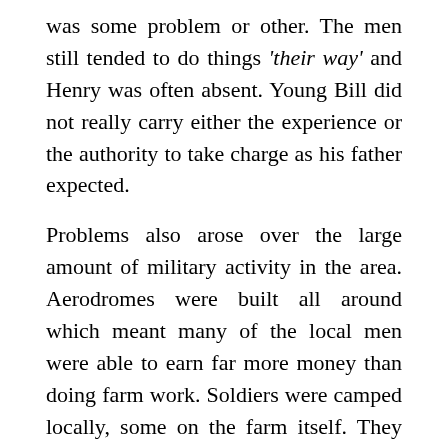was some problem or other. The men still tended to do things 'their way' and Henry was often absent. Young Bill did not really carry either the experience or the authority to take charge as his father expected.
Problems also arose over the large amount of military activity in the area. Aerodromes were built all around which meant many of the local men were able to earn far more money than doing farm work. Soldiers were camped locally, some on the farm itself. They careered around in army vehicles ruining Henry's precious farm roads made with such care and hard work. They knocked down walls and gateposts. Someone even shot one of the cows in the udder. Henry was upset and